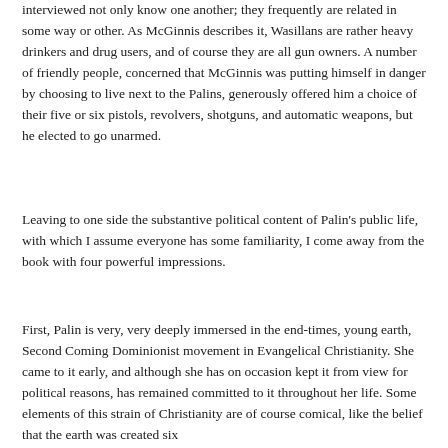interviewed not only know one another; they frequently are related in some way or other. As McGinnis describes it, Wasillans are rather heavy drinkers and drug users, and of course they are all gun owners. A number of friendly people, concerned that McGinnis was putting himself in danger by choosing to live next to the Palins, generously offered him a choice of their five or six pistols, revolvers, shotguns, and automatic weapons, but he elected to go unarmed.
Leaving to one side the substantive political content of Palin's public life, with which I assume everyone has some familiarity, I come away from the book with four powerful impressions.
First, Palin is very, very deeply immersed in the end-times, young earth, Second Coming Dominionist movement in Evangelical Christianity. She came to it early, and although she has on occasion kept it from view for political reasons, has remained committed to it throughout her life. Some elements of this strain of Christianity are of course comical, like the belief that the earth was created six